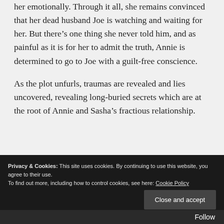her emotionally. Through it all, she remains convinced that her dead husband Joe is watching and waiting for her. But there's one thing she never told him, and as painful as it is for her to admit the truth, Annie is determined to go to Joe with a guilt-free conscience.
As the plot unfurls, traumas are revealed and lies uncovered, revealing long-buried secrets which are at the root of Annie and Sasha's fractious relationship.
Privacy & Cookies: This site uses cookies. By continuing to use this website, you agree to their use.
To find out more, including how to control cookies, see here: Cookie Policy
Close and accept
Follow